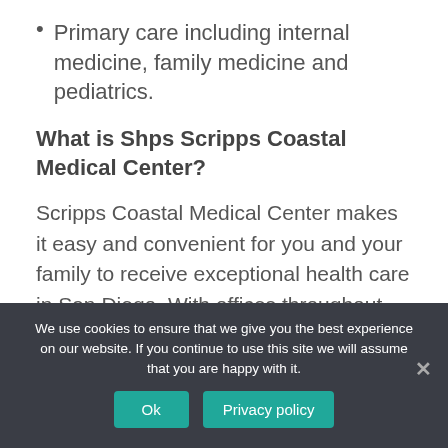Primary care including internal medicine, family medicine and pediatrics.
What is Shps Scripps Coastal Medical Center?
Scripps Coastal Medical Center makes it easy and convenient for you and your family to receive exceptional health care in San Diego. With offices throughout San Diego County, our doctors specialize in family medicine, internal medicine, pediatrics, and obstetrics and gynecology.
We use cookies to ensure that we give you the best experience on our website. If you continue to use this site we will assume that you are happy with it.